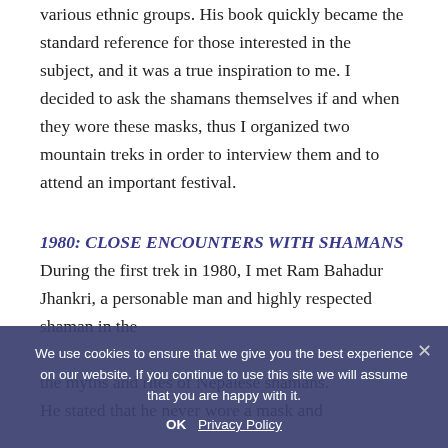various ethnic groups. His book quickly became the standard reference for those interested in the subject, and it was a true inspiration to me. I decided to ask the shamans themselves if and when they wore these masks, thus I organized two mountain treks in order to interview them and to attend an important festival.
1980: CLOSE ENCOUNTERS WITH SHAMANS During the first trek in 1980, I met Ram Bahadur Jhankri, a personable man and highly respected shaman in the ... the myths and rites of Nepalese shamans. He stated that he never wore a mask and
We use cookies to ensure that we give you the best experience on our website. If you continue to use this site we will assume that you are happy with it.
OK  Privacy Policy